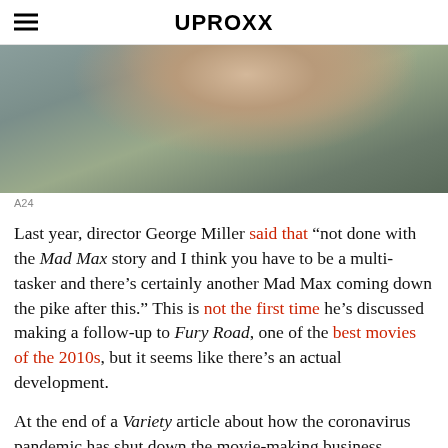UPROXX
[Figure (photo): Close-up photo of a woman with blonde hair, blurred background, soft outdoor lighting.]
A24
Last year, director George Miller said that “not done with the Mad Max story and I think you have to be a multi-tasker and there’s certainly another Mad Max coming down the pike after this.” This is not the first time he’s discussed making a follow-up to Fury Road, one of the best movies of the 2010s, but it seems like there’s an actual development.
At the end of a Variety article about how the coronavirus pandemic has shut down the movie-making business, including productions for The